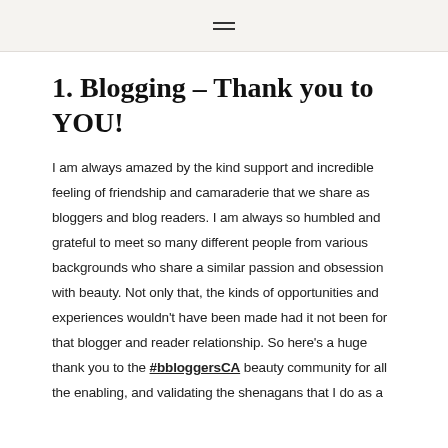☰
1. Blogging – Thank you to YOU!
I am always amazed by the kind support and incredible feeling of friendship and camaraderie that we share as bloggers and blog readers. I am always so humbled and grateful to meet so many different people from various backgrounds who share a similar passion and obsession with beauty. Not only that, the kinds of opportunities and experiences wouldn't have been made had it not been for that blogger and reader relationship. So here's a huge thank you to the #bbloggersCA beauty community for all the enabling, and validating the shenagans that I do as a